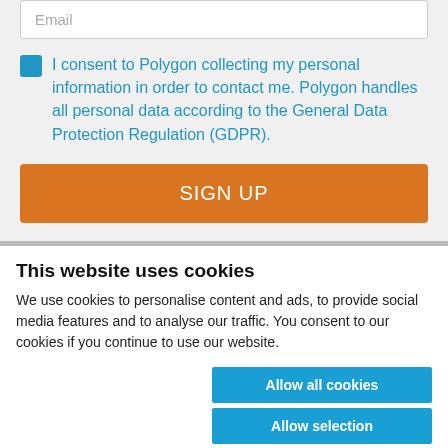Email
I consent to Polygon collecting my personal information in order to contact me. Polygon handles all personal data according to the General Data Protection Regulation (GDPR).
SIGN UP
This website uses cookies
We use cookies to personalise content and ads, to provide social media features and to analyse our traffic. You consent to our cookies if you continue to use our website.
Allow all cookies
Allow selection
Use necessary cookies only
Necessary  Preferences  Statistics  Marketing  Show details